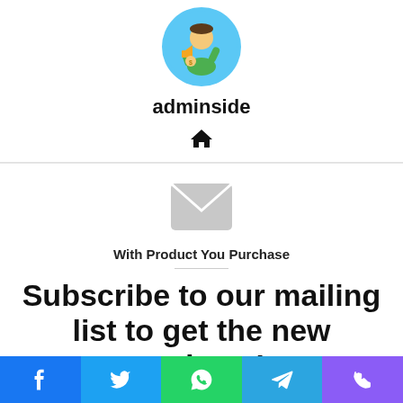[Figure (illustration): Circular avatar with blue background showing an illustrated person with megaphone and digital elements]
adminside
[Figure (other): Home icon (house symbol)]
[Figure (other): Envelope/mail icon in light gray]
With Product You Purchase
Subscribe to our mailing list to get the new updates!
Lorem ipsum dolor sit amet, consectetur.
[Figure (other): Social share bar with Facebook, Twitter, WhatsApp, Telegram, Phone icons]